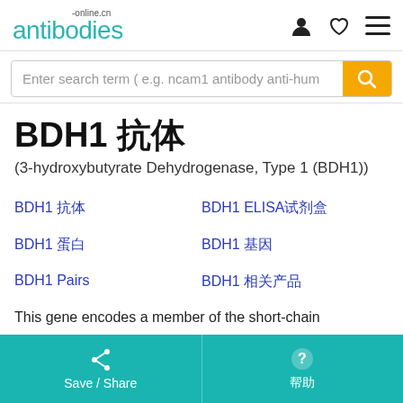antibodies-online.cn
Enter search term ( e.g. ncam1 antibody anti-hum
BDH1 抗体
(3-hydroxybutyrate Dehydrogenase, Type 1 (BDH1))
BDH1 抗体
BDH1 ELISA试剂盒
BDH1 蛋白
BDH1 基因
BDH1 Pairs
BDH1 相关产品
This gene encodes a member of the short-chain
Save / Share  |  帮助